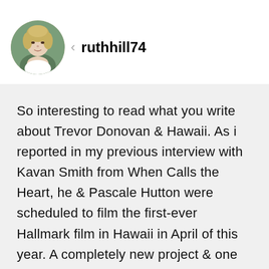[Figure (photo): Circular profile photo of a woman with short blonde hair against a green background]
ruthhill74
So interesting to read what you write about Trevor Donovan & Hawaii. As i reported in my previous interview with Kavan Smith from When Calls the Heart, he & Pascale Hutton were scheduled to film the first-ever Hallmark film in Hawaii in April of this year. A completely new project & one they were excited to film, but now we know...